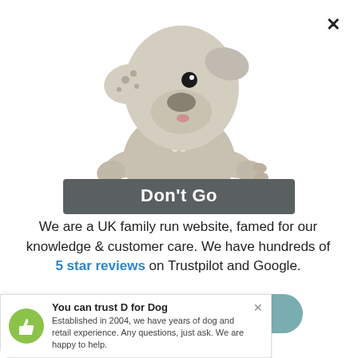[Figure (illustration): A stylized dog character figurine holding a sign, with a bone necklace. The dog looks upward with big eyes and has one spotted ear.]
Don't Go
We are a UK family run website, famed for our knowledge & customer care. We have hundreds of 5 star reviews on Trustpilot and Google.
Need help - contact us
You can trust D for Dog
Established in 2004, we have years of dog and retail experience. Any questions, just ask. We are happy to help.